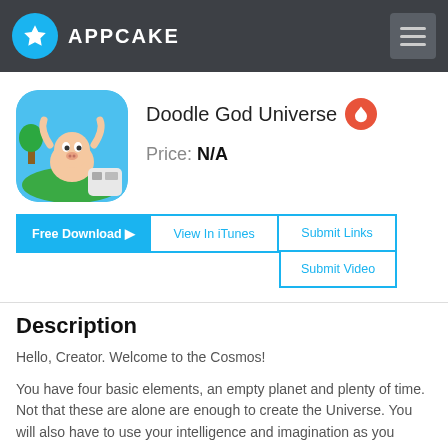APPCAKE
Doodle God Universe
Price: N/A
Free Download  View In iTunes  Submit Links  Submit Video
Description
Hello, Creator. Welcome to the Cosmos!
You have four basic elements, an empty planet and plenty of time. Not that these are alone are enough to create the Universe. You will also have to use your intelligence and imagination as you...